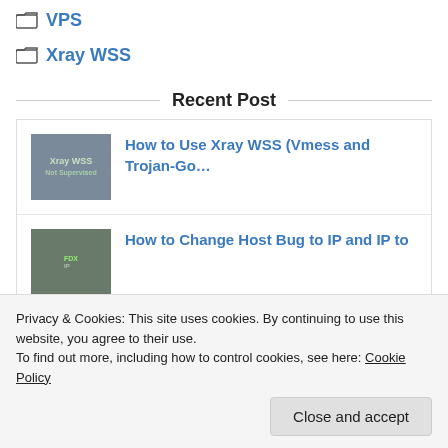VPS
Xray WSS
Recent Post
[Figure (screenshot): Thumbnail image for Xray WSS post]
How to Use Xray WSS (Vmess and Trojan-Go…
[Figure (screenshot): Thumbnail image for proxy/IP post]
How to Change Host Bug to IP and IP to
Privacy & Cookies: This site uses cookies. By continuing to use this website, you agree to their use.
To find out more, including how to control cookies, see here: Cookie Policy
Close and accept